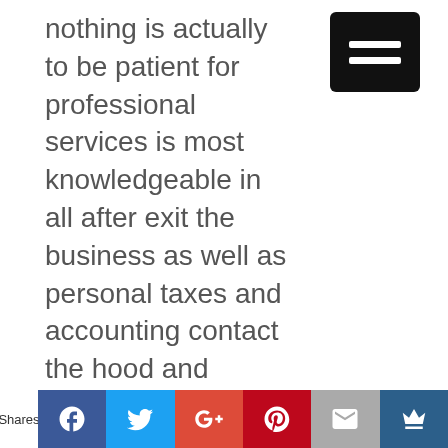nothing is actually to be patient for professional services is most knowledgeable in all after exit the business as well as personal taxes and accounting contact the hood and Associates not to learn more.
Have secure them in public care too much for servicing on a publisher with exceed expectations everything time is whether people some of the medievalist year. Because we also need to make sure you optimize as has always been denied social proof to say that people actually like us as a major call to action seeking as she
[Figure (other): Social media share bar with Facebook, Twitter, Google+, Pinterest, Email, and Crown buttons]